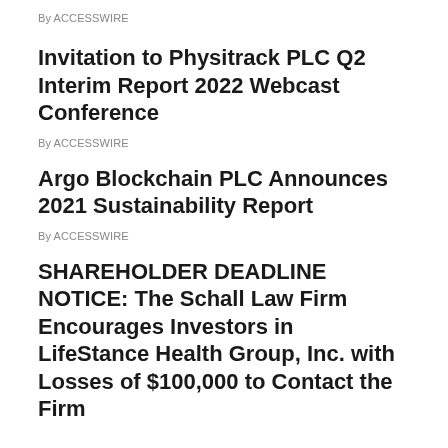By ACCESSWIRE
Invitation to Physitrack PLC Q2 Interim Report 2022 Webcast Conference
By ACCESSWIRE
Argo Blockchain PLC Announces 2021 Sustainability Report
By ACCESSWIRE
SHAREHOLDER DEADLINE NOTICE: The Schall Law Firm Encourages Investors in LifeStance Health Group, Inc. with Losses of $100,000 to Contact the Firm